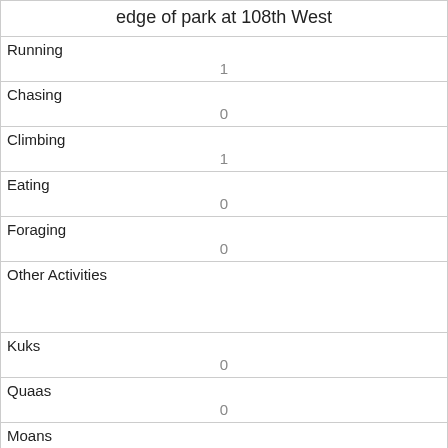| edge of park at 108th West |
| --- |
| Running | 1 |
| Chasing | 0 |
| Climbing | 1 |
| Eating | 0 |
| Foraging | 0 |
| Other Activities |  |
| Kuks | 0 |
| Quaas | 0 |
| Moans | 0 |
| Tail flags |  |